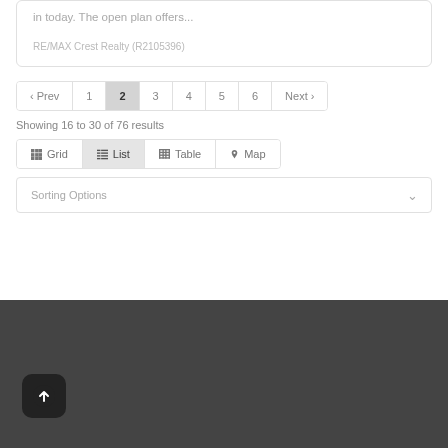in today. The open plan offers...
RE/MAX Crest Realty (R2105396)
‹ Prev  1  2  3  4  5  6  Next ›
Showing 16 to 30 of 76 results
Grid  List  Table  Map
Sorting Options